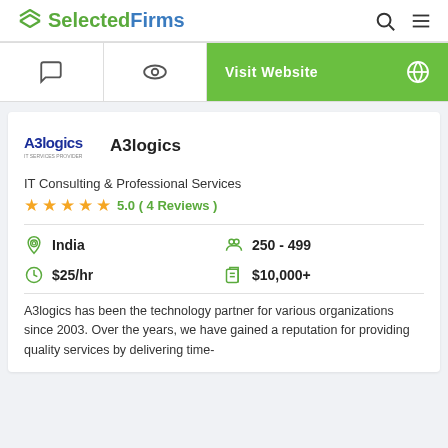SelectedFirms
[Figure (screenshot): Action bar with chat icon, eye/view icon, and green Visit Website button with globe icon]
A3logics
IT Consulting & Professional Services
5.0 (4 Reviews)
India
250 - 499
$25/hr
$10,000+
A3logics has been the technology partner for various organizations since 2003. Over the years, we have gained a reputation for providing quality services by delivering time-